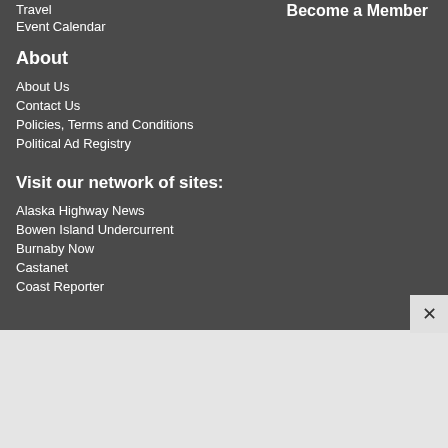Travel
Event Calendar
Become a Member
About
About Us
Contact Us
Policies, Terms and Conditions
Political Ad Registry
Visit our network of sites:
Alaska Highway News
Bowen Island Undercurrent
Burnaby Now
Castanet
Coast Reporter